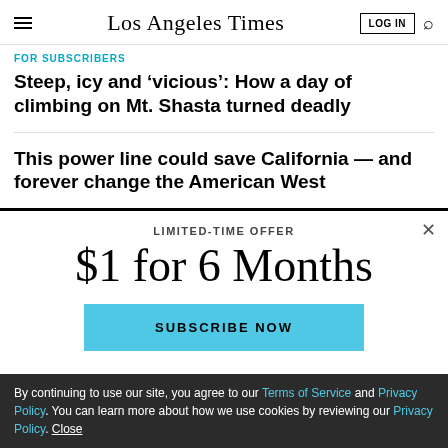Los Angeles Times
FOR SUBSCRIBERS
Steep, icy and ‘vicious’: How a day of climbing on Mt. Shasta turned deadly
This power line could save California — and forever change the American West
LIMITED-TIME OFFER
$1 for 6 Months
SUBSCRIBE NOW
By continuing to use our site, you agree to our Terms of Service and Privacy Policy. You can learn more about how we use cookies by reviewing our Privacy Policy. Close